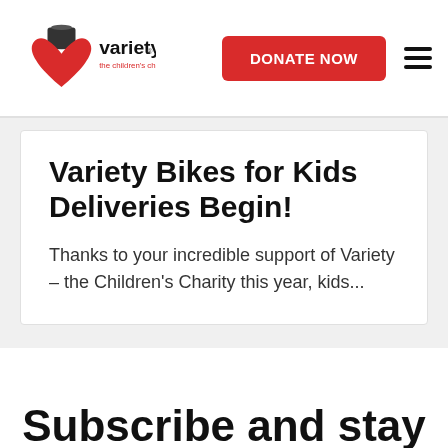Variety – the children's charity | DONATE NOW | menu
Variety Bikes for Kids Deliveries Begin!
Thanks to your incredible support of Variety – the Children's Charity this year, kids...
Subscribe and stay updated